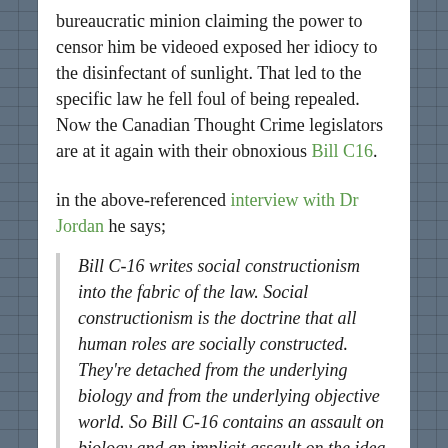bureaucratic minion claiming the power to censor him be videoed exposed her idiocy to the disinfectant of sunlight. That led to the specific law he fell foul of being repealed. Now the Canadian Thought Crime legislators are at it again with their obnoxious Bill C16.
in the above-referenced interview with Dr Jordan he says;
Bill C-16 writes social constructionism into the fabric of the law. Social constructionism is the doctrine that all human roles are socially constructed. They're detached from the underlying biology and from the underlying objective world. So Bill C-16 contains an assault on biology and an implicit assault on the idea of objective reality.